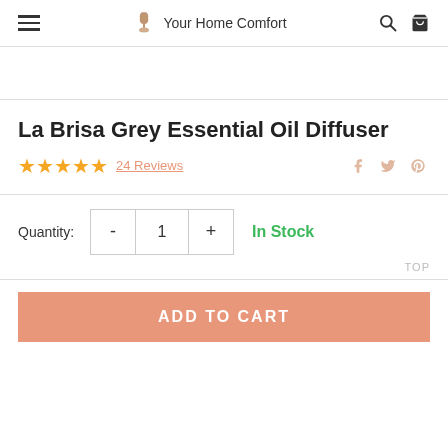Your Home Comfort
[Figure (other): Product image area (cropped, partially visible at top)]
La Brisa Grey Essential Oil Diffuser
★★★★★ 24 Reviews  f  🐦  Pinterest
Quantity: - 1 + In Stock
TOP
ADD TO CART